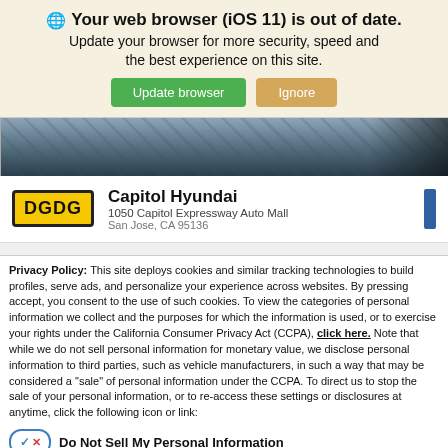Your web browser (iOS 11) is out of date. Update your browser for more security, speed and the best experience on this site.
[Figure (screenshot): Browser update banner with 'Update browser' (green button) and 'Ignore' (tan button)]
[Figure (photo): Car image strip showing dark racetrack or car detail]
[Figure (logo): DGDG logo (yellow background, black border, black text)]
Capitol Hyundai
1050 Capitol Expressway Auto Mall
San Jose, CA 95136
Privacy Policy: This site deploys cookies and similar tracking technologies to build profiles, serve ads, and personalize your experience across websites. By pressing accept, you consent to the use of such cookies. To view the categories of personal information we collect and the purposes for which the information is used, or to exercise your rights under the California Consumer Privacy Act (CCPA), click here. Note that while we do not sell personal information for monetary value, we disclose personal information to third parties, such as vehicle manufacturers, in such a way that may be considered a "sale" of personal information under the CCPA. To direct us to stop the sale of your personal information, or to re-access these settings or disclosures at anytime, click the following icon or link:
Do Not Sell My Personal Information
Language: English
Powered by ComplyAuto
Accept and Continue →
California Privacy Disclosures